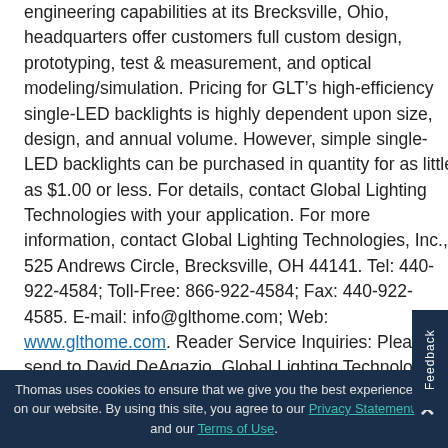engineering capabilities at its Brecksville, Ohio, headquarters offer customers full custom design, prototyping, test & measurement, and optical modeling/simulation. Pricing for GLT's high-efficiency single-LED backlights is highly dependent upon size, design, and annual volume. However, simple single-LED backlights can be purchased in quantity for as little as $1.00 or less. For details, contact Global Lighting Technologies with your application. For more information, contact Global Lighting Technologies, Inc., 525 Andrews Circle, Brecksville, OH 44141. Tel: 440-922-4584; Toll-Free: 866-922-4584; Fax: 440-922-4585. E-mail: info@glthome.com; Web: www.glthome.com. Reader Service Inquiries: Please send to David DeAgazio, Global Lighting Technologies, 55 Andrews Circle, Brecksville, OH
Thomas uses cookies to ensure that we give you the best experience on our website. By using this site, you agree to our Privacy Statement and our Terms of Use.